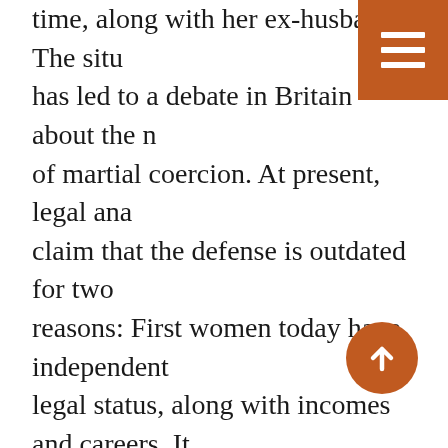time, along with her ex-husband. The situation has led to a debate in Britain about the nature of martial coercion. At present, legal analysts claim that the defense is outdated for two reasons: First women today have independent legal status, along with incomes and careers. It is difficult to see how a woman could be coerced, they argue, when she clearly has the option of leaving the marriage. In other words, the law is outdated because marriage is no longer a patriarchal institution.
Second, some analysts argue that it is wrong – and in violation of European Human Rights legislation – to claim that only women can be coerced in an intimate relationship. That the law is discriminatory since it does not afford the